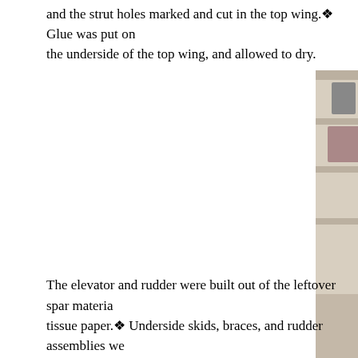and the strut holes marked and cut in the top wing.❖ Glue was put on the underside of the top wing, and allowed to dry.
[Figure (photo): Students working at a classroom table on a model airplane/biplane wing assembly project, with glue bottles visible and shelving/flag in the background.]
The elevator and rudder were built out of the leftover spar material❖ tissue paper.❖ Underside skids, braces, and rudder assemblies we...